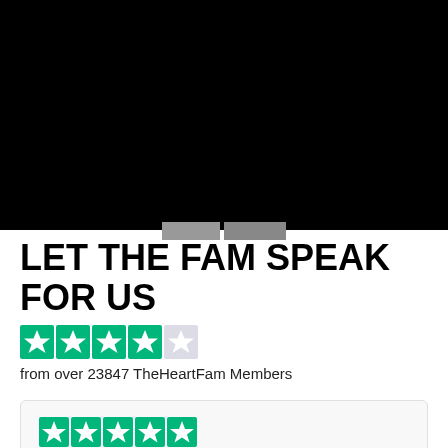[Figure (screenshot): Black banner image at top of page with two gray segments visible at the bottom center]
LET THE FAM SPEAK FOR US
[Figure (other): 4.5 out of 5 stars rating in green Trustpilot-style stars]
from over 23847 TheHeartFam Members
[Figure (other): Review card with 5 green stars]